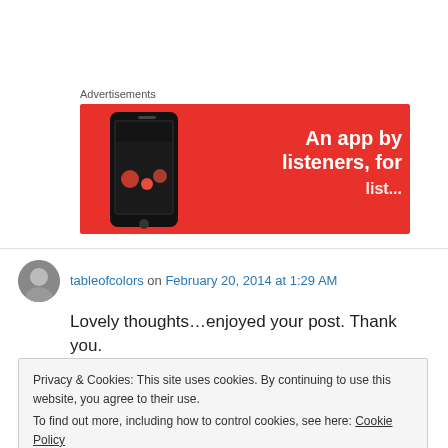Advertisements
[Figure (screenshot): Red advertisement banner for a music app with text 'An app by listeners, for list...' and a smartphone on the left side]
tableofcolors on February 20, 2014 at 1:29 AM
Lovely thoughts…enjoyed your post. Thank you.
Privacy & Cookies: This site uses cookies. By continuing to use this website, you agree to their use.
To find out more, including how to control cookies, see here: Cookie Policy
Close and accept